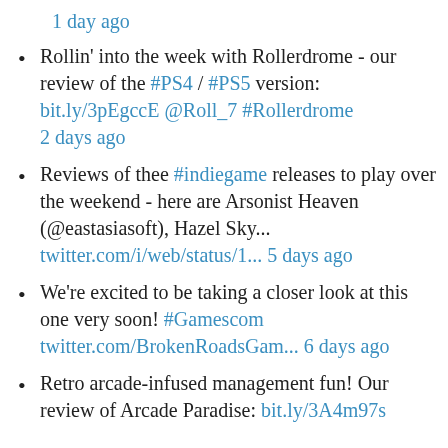1 day ago
Rollin' into the week with Rollerdrome - our review of the #PS4 / #PS5 version: bit.ly/3pEgccE @Roll_7 #Rollerdrome 2 days ago
Reviews of thee #indiegame releases to play over the weekend - here are Arsonist Heaven (@eastasiasoft), Hazel Sky... twitter.com/i/web/status/1... 5 days ago
We're excited to be taking a closer look at this one very soon! #Gamescom twitter.com/BrokenRoadsGam... 6 days ago
Retro arcade-infused management fun! Our review of Arcade Paradise: bit.ly/3A4m97s